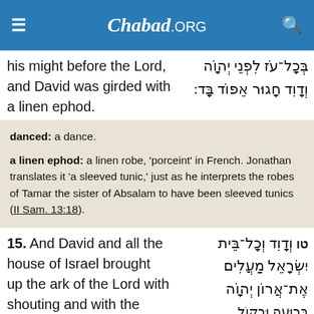Chabad.ORG
his might before the Lord, and David was girded with a linen ephod.
בְּכָל־עֹז לִפְנֵי יְהוָֹה וְדָוִד חָגוּר אֵפוֹד בָּד:
danced: a dance.

a linen ephod: a linen robe, 'porceint' in French. Jonathan translates it 'a sleeved tunic,' just as he interprets the robes of Tamar the sister of Absalam to have been sleeved tunics (II Sam. 13:18).
15. And David and all the house of Israel brought up the ark of the Lord with shouting and with the sound of [the]
טו וְדָוִד וְכָל־בֵּית יִשְׂרָאֵל מַעֲלִים אֶת־אֲרוֹן יְהוָֹה